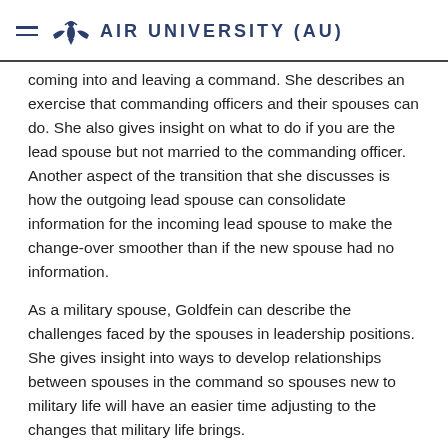AIR UNIVERSITY (AU)
coming into and leaving a command. She describes an exercise that commanding officers and their spouses can do. She also gives insight on what to do if you are the lead spouse but not married to the commanding officer. Another aspect of the transition that she discusses is how the outgoing lead spouse can consolidate information for the incoming lead spouse to make the change-over smoother than if the new spouse had no information.
As a military spouse, Goldfein can describe the challenges faced by the spouses in leadership positions. She gives insight into ways to develop relationships between spouses in the command so spouses new to military life will have an easier time adjusting to the changes that military life brings. Goldfein also discusses the ways spouses should reach to...